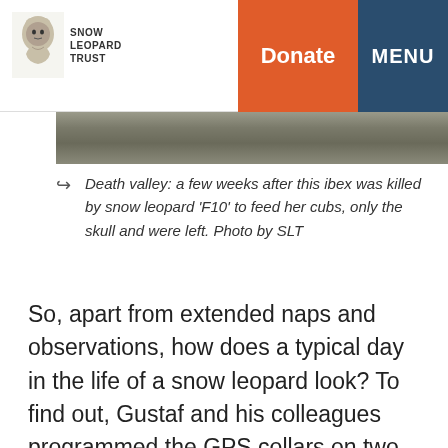Snow Leopard Trust | Donate | MENU
[Figure (photo): Partial view of a rocky landscape photo strip, showing stone or camouflage-patterned terrain at the top of the content area.]
Death valley: a few weeks after this ibex was killed by snow leopard ‘F10’ to feed her cubs, only the skull and were left. Photo by SLT
So, apart from extended naps and observations, how does a typical day in the life of a snow leopard look? To find out, Gustaf and his colleagues programmed the GPS collars on two cats to log a position every hour, giving them the most complete picture yet of how a snow leopard moves through the landscape. “The hourly GPS data points show us where a cat has gone, and how long it